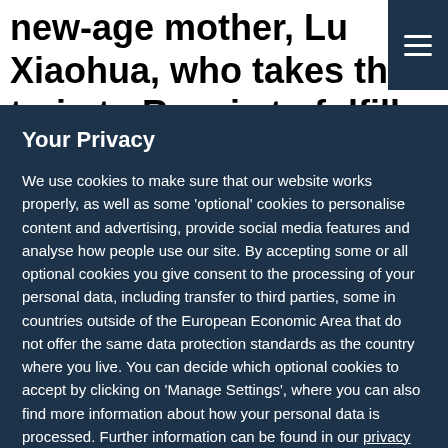new-age mother, Lu Xiaohua, who takes the train to Russia to fulfill her desire to perfo…
Your Privacy
We use cookies to make sure that our website works properly, as well as some 'optional' cookies to personalise content and advertising, provide social media features and analyse how people use our site. By accepting some or all optional cookies you give consent to the processing of your personal data, including transfer to third parties, some in countries outside of the European Economic Area that do not offer the same data protection standards as the country where you live. You can decide which optional cookies to accept by clicking on 'Manage Settings', where you can also find more information about how your personal data is processed. Further information can be found in our privacy policy.
Accept All Cookies
Reject Non Essential Cookies
Manage Preferences